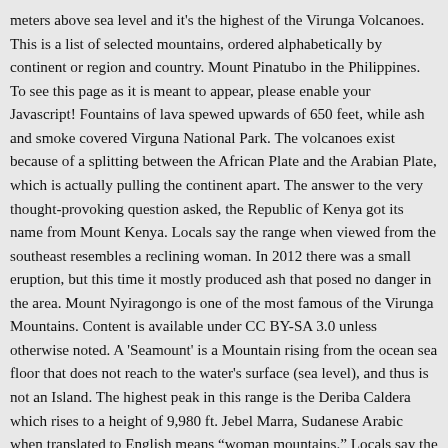meters above sea level and it's the highest of the Virunga Volcanoes. This is a list of selected mountains, ordered alphabetically by continent or region and country. Mount Pinatubo in the Philippines. To see this page as it is meant to appear, please enable your Javascript! Fountains of lava spewed upwards of 650 feet, while ash and smoke covered Virguna National Park. The volcanoes exist because of a splitting between the African Plate and the Arabian Plate, which is actually pulling the continent apart. The answer to the very thought-provoking question asked, the Republic of Kenya got its name from Mount Kenya. Locals say the range when viewed from the southeast resembles a reclining woman. In 2012 there was a small eruption, but this time it mostly produced ash that posed no danger in the area. Mount Nyiragongo is one of the most famous of the Virunga Mountains. Content is available under CC BY-SA 3.0 unless otherwise noted. A 'Seamount' is a Mountain rising from the ocean sea floor that does not reach to the water's surface (sea level), and thus is not an Island. The highest peak in this range is the Deriba Caldera which rises to a height of 9,980 ft. Jebel Marra, Sudanese Arabic when translated to English means "woman mountains." Locals say the range when viewed from the southeast resembles a reclining woman. Required fields are marked *. Volcanic mountains consist of – Magma chamber, Mount Isa, Content is available for free. Mount Karisimbi is one of the...